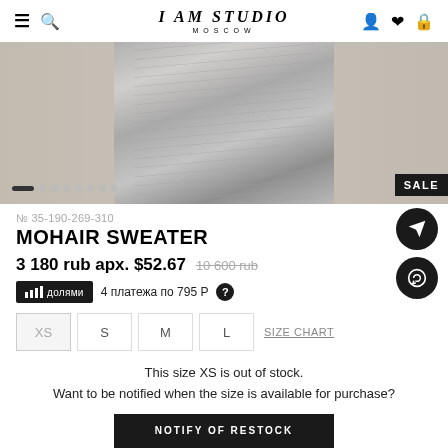I AM STUDIO MOSCOW
[Figure (photo): Product photo of a gray mohair sweater/garment with beige background, showing fabric detail. SALE badge in bottom right. Navigation dots at bottom left.]
№ 35-190-269-310
MOHAIR SWEATER
3 180 rub арх. $52.67   10 600 rub
IIII долями   4 платежа по 795 Р  ?
XS  S  M  L  SIZE CHART
This size XS is out of stock.
Want to be notified when the size is available for purchase?
NOTIFY OF RESTOCK